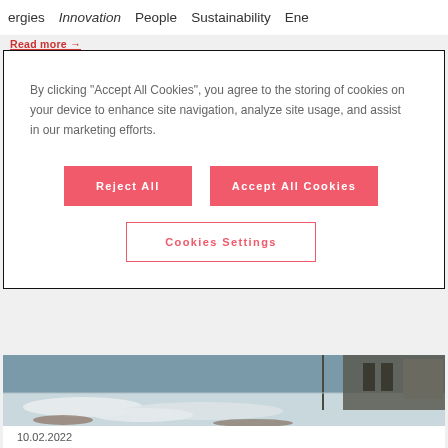ergies  Innovation  People  Sustainability  Ene
By clicking “Accept All Cookies”, you agree to the storing of cookies on your device to enhance site navigation, analyze site usage, and assist in our marketing efforts.
Reject All
Accept All Cookies
Cookies Settings
[Figure (photo): Aerial or ground-level photo of snow-covered outdoor area, possibly a building or infrastructure site with snow and mud visible]
10.02.2022
Controlling grid voltages with shunt reactors